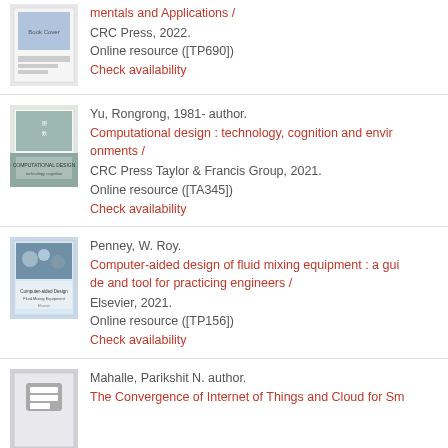mentals and Applications / CRC Press, 2022. Online resource ([TP690]) Check availability
Yu, Rongrong, 1981- author. Computational design : technology, cognition and environments / CRC Press Taylor & Francis Group, 2021. Online resource ([TA345]) Check availability
Penney, W. Roy. Computer-aided design of fluid mixing equipment : a guide and tool for practicing engineers / Elsevier, 2021. Online resource ([TP156]) Check availability
Mahalle, Parikshit N. author. The Convergence of Internet of Things and Cloud for Sm